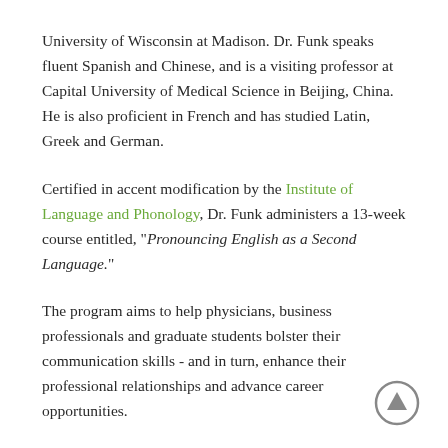University of Wisconsin at Madison. Dr. Funk speaks fluent Spanish and Chinese, and is a visiting professor at Capital University of Medical Science in Beijing, China. He is also proficient in French and has studied Latin, Greek and German.
Certified in accent modification by the Institute of Language and Phonology, Dr. Funk administers a 13-week course entitled, "Pronouncing English as a Second Language."
The program aims to help physicians, business professionals and graduate students bolster their communication skills - and in turn, enhance their professional relationships and advance career opportunities.